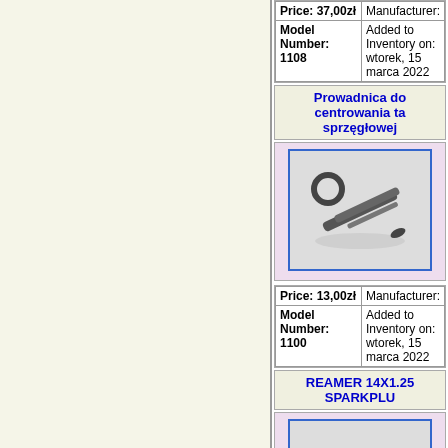| Field | Value |
| --- | --- |
| Price: 37,00zł | Manufacturer: |
| Model Number: 1108 | Added to Inventory on: wtorek, 15 marca 2022 |
Prowadnica do centrowania tarczy sprzęgłowej
[Figure (photo): Clutch disc centering guide tool - a long metal pin tool with a circular ring handle at one end]
| Field | Value |
| --- | --- |
| Price: 13,00zł | Manufacturer: |
| Model Number: 1100 | Added to Inventory on: wtorek, 15 marca 2022 |
REAMER 14X1.25 SPARKPLU
[Figure (photo): Spark plug reamer tool 14x1.25 - a threaded metal tool with a wide flat head]
| Field | Value |
| --- | --- |
| Price: 533,00zł | Manufacturer: |
| Model | Added to Inventory on: |